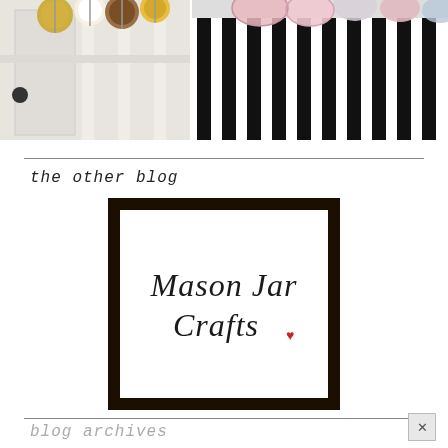[Figure (photo): Two side-by-side photos at top: left shows decorative pom-poms (yellow, white, brown) hanging near a white door/fence; right shows pink and striped fabric pom-poms hanging near a black and white striped background.]
the other blog
[Figure (logo): Mason Jar Crafts logo: dark brown/black thick border frame containing white background with cursive script text 'Mason Jar Crafts' with a small red heart.]
blog archives